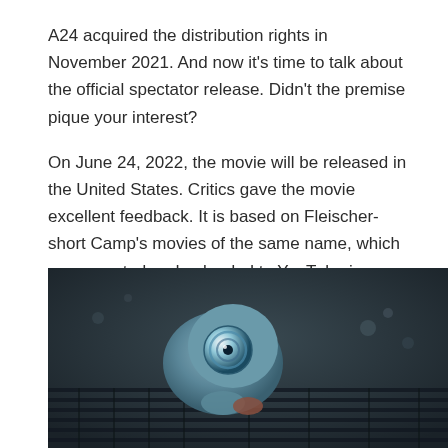A24 acquired the distribution rights in November 2021. And now it's time to talk about the official spectator release. Didn't the premise pique your interest?
On June 24, 2022, the movie will be released in the United States. Critics gave the movie excellent feedback. It is based on Fleischer-short Camp's movies of the same name, which were created and uploaded to YouTube in 2010.
[Figure (photo): A small blue animated creature with large spiral eyes sits on a laptop keyboard in a dark setting.]